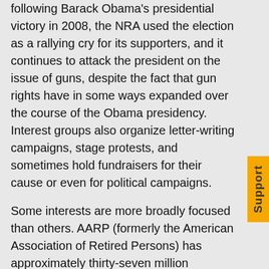following Barack Obama's presidential victory in 2008, the NRA used the election as a rallying cry for its supporters, and it continues to attack the president on the issue of guns, despite the fact that gun rights have in some ways expanded over the course of the Obama presidency. Interest groups also organize letter-writing campaigns, stage protests, and sometimes hold fundraisers for their cause or even for political campaigns.
Some interests are more broadly focused than others. AARP (formerly the American Association of Retired Persons) has approximately thirty-seven million members and advocates for individuals fifty and over on a variety of issues including health care, insurance, employment, financial security, and consumer protection (Figure).http://www.aarp.org/about-aarp/ (October 3, 2015). This organization represents both liberals and conservatives, Democrats and Republicans, and many who do not identify with these